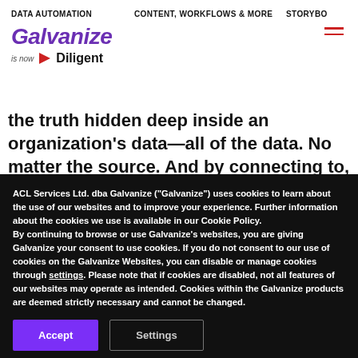DATA AUTOMATION | CONTENT, WORKFLOWS & MORE | STORYBO...
[Figure (logo): Galvanize is now Diligent logo]
the truth hidden deep inside an organization's data—all of the data. No matter the source. And by connecting to, harmonizing, normalizing, and analyzing data across the organization, you'll streamline your workload, realign your
ACL Services Ltd. dba Galvanize ("Galvanize") uses cookies to learn about the use of our websites and to improve your experience. Further information about the cookies we use is available in our Cookie Policy.
By continuing to browse or use Galvanize's websites, you are giving Galvanize your consent to use cookies. If you do not consent to our use of cookies on the Galvanize Websites, you can disable or manage cookies through settings. Please note that if cookies are disabled, not all features of our websites may operate as intended. Cookies within the Galvanize products are deemed strictly necessary and cannot be changed.
Accept | Settings